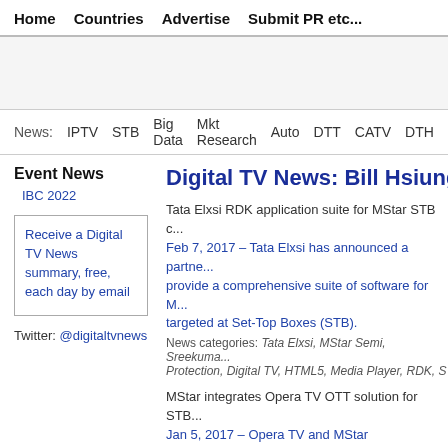Home  Countries  Advertise  Submit PR etc...
News:  IPTV  STB  Big Data  Mkt Research  Auto  DTT  CATV  DTH  Se
Event News
IBC 2022
Receive a Digital TV News summary, free, each day by email
Twitter: @digitaltvnews
Digital TV News: Bill Hsiung
Tata Elxsi RDK application suite for MStar STB c... Feb 7, 2017 – Tata Elxsi has announced a partne... provide a comprehensive suite of software for M... targeted at Set-Top Boxes (STB).
News categories: Tata Elxsi, MStar Semi, Sreekuma... Protection, Digital TV, HTML5, Media Player, RDK, S
MStar integrates Opera TV OTT solution for STB... Jan 5, 2017 – Opera TV and MStar Semiconduc... a built-in OTT solution on MStar's STB SoCs. To... offering STB manufacturers and service provider... cost savings and reduced time-to-market.
News categories: Opera TV, MStar Semi, Aneesh Ra... Middleware, Semiconductor, Set Top Box, Streaming
SoftAtHome SOPS integrated with MStae hybrid...